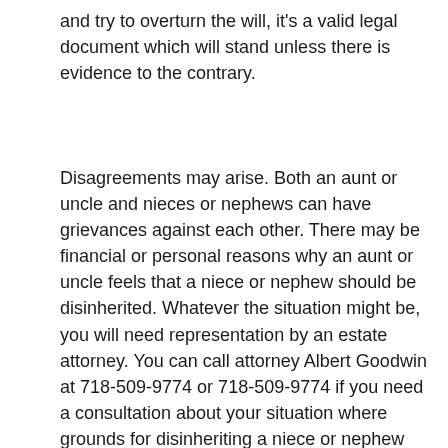and try to overturn the will, it's a valid legal document which will stand unless there is evidence to the contrary.
Disagreements may arise. Both an aunt or uncle and nieces or nephews can have grievances against each other. There may be financial or personal reasons why an aunt or uncle feels that a niece or nephew should be disinherited. Whatever the situation might be, you will need representation by an estate attorney. You can call attorney Albert Goodwin at 718-509-9774 or 718-509-9774 if you need a consultation about your situation where grounds for disinheriting a niece or nephew play a part.